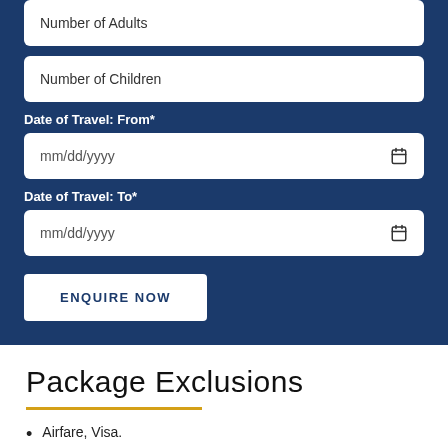Number of Adults
Number of Children
Date of Travel: From*
mm/dd/yyyy
Date of Travel: To*
mm/dd/yyyy
ENQUIRE NOW
Package Exclusions
Airfare, Visa.
Tips and Porterage.